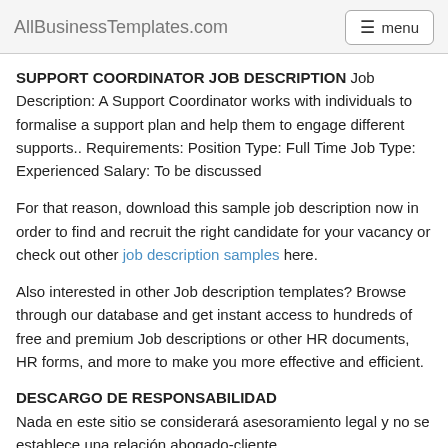AllBusinessTemplates.com   menu
SUPPORT COORDINATOR JOB DESCRIPTION Job Description: A Support Coordinator works with individuals to formalise a support plan and help them to engage different supports.. Requirements: Position Type: Full Time Job Type: Experienced Salary: To be discussed
For that reason, download this sample job description now in order to find and recruit the right candidate for your vacancy or check out other job description samples here.
Also interested in other Job description templates? Browse through our database and get instant access to hundreds of free and premium Job descriptions or other HR documents, HR forms, and more to make you more effective and efficient.
DESCARGO DE RESPONSABILIDAD
Nada en este sitio se considerará asesoramiento legal y no se establece una relación abogado-cliente.